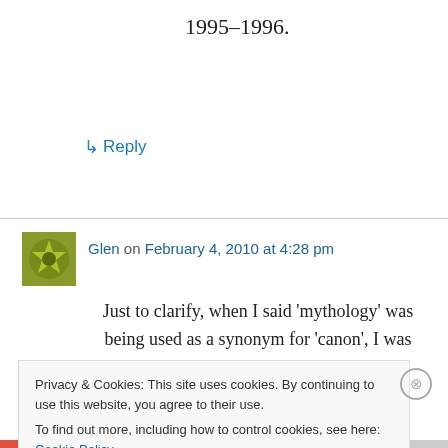1995–1996.
↳ Reply
Glen on February 4, 2010 at 4:28 pm
Just to clarify, when I said 'mythology' was being used as a synonym for 'canon', I was talking
Privacy & Cookies: This site uses cookies. By continuing to use this website, you agree to their use.
To find out more, including how to control cookies, see here: Cookie Policy
Close and accept